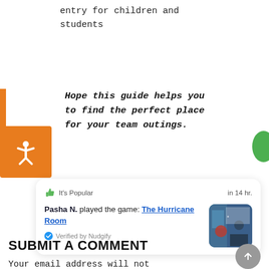entry for children and
students
Hope this guide helps you to find the perfect place for your team outings.
[Figure (screenshot): Social proof card showing 'It's Popular' with thumbs up icon, 'in 14 hr.' timestamp, text 'Pasha N. played the game: The Hurricane Room', 'Verified by Nudgify', and a small photo of people playing a game.]
SUBMIT A COMMENT
Your email address will not